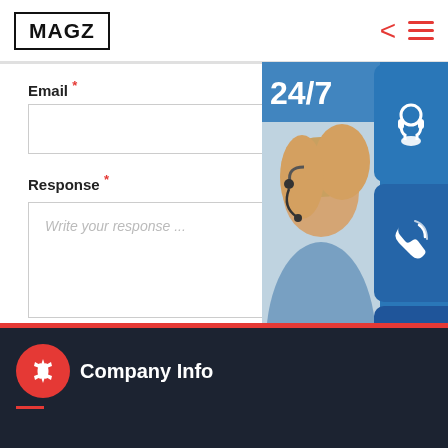MAGZ
Email *
Response *
Write your response ...
Send Response
[Figure (screenshot): Customer support advertisement banner showing a woman with a headset, '24/7' text, support icons (headset, phone, Skype), text 'PROVIDE', 'Empowering Cu...', and 'online live' button]
Company Info